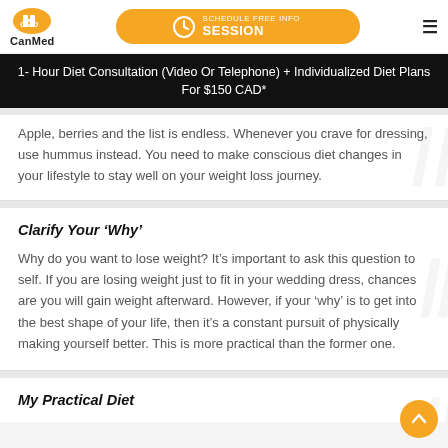CanMed | SCHEDULE FREE INFO SESSION
1- Hour Diet Consultation (Video Or Telephone) + Individualized Diet Plans For $150 CAD*
Apple, berries and the list is endless. Whenever you crave for dressing, use hummus instead. You need to make conscious diet changes in your lifestyle to stay well on your weight loss journey.
Clarify Your ‘Why’
Why do you want to lose weight? It’s important to ask this question to self. If you are losing weight just to fit in your wedding dress, chances are you will gain weight afterward. However, if your ‘why’ is to get into the best shape of your life, then it’s a constant pursuit of physically making yourself better. This is more practical than the former one.
My Practical Diet